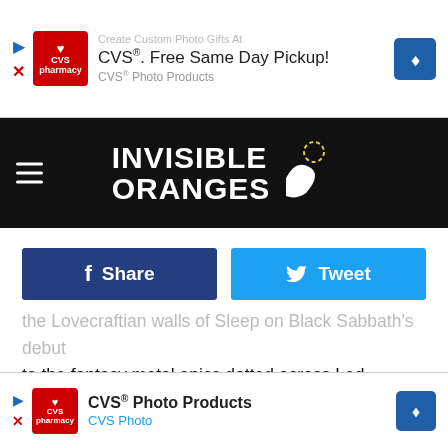[Figure (screenshot): CVS Pharmacy advertisement banner: CVS logo, 'Create Custom Photo Gifts At CVS®. Free Same Day Pickup! CVS® Photo Products' text with navigation arrow]
[Figure (logo): Invisible Oranges website header with hamburger menu icon, site logo text 'INVISIBLE ORANGES' with bird/hand graphic on black background]
[Figure (screenshot): Facebook Share button (dark blue) and Twitter Tweet button (light blue)]
the Lovecraftian walls of Sleep on Black Sabbath's debut to the fantasy metal epics dotted across Led Zeppelin's discography to almost every record Judas Priest ever put out, the intertwining of metal and fantasy remained, bound up as one coherent concept.
It is not a surprise that, in the two decades following the decline of most of those early metal bands, a new crop would rise and push this notion further. It was here in the New W... genre absolu... orate
[Figure (screenshot): CVS Photo Products advertisement banner at bottom of page]